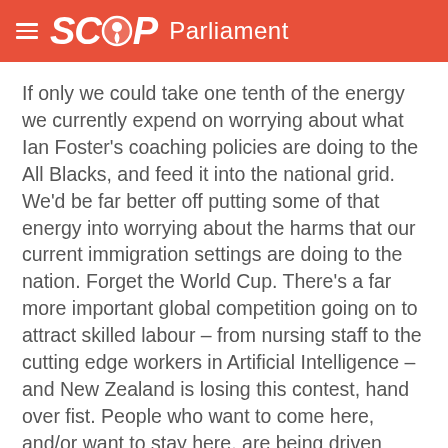SCOOP Parliament
If only we could take one tenth of the energy we currently expend on worrying about what Ian Foster's coaching policies are doing to the All Blacks, and feed it into the national grid. We'd be far better off putting some of that energy into worrying about the harms that our current immigration settings are doing to the nation. Forget the World Cup. There's a far more important global competition going on to attract skilled labour – from nursing staff to the cutting edge workers in Artificial Intelligence – and New Zealand is losing this contest, hand over fist. People who want to come here, and/or want to stay here, are being driven away by the short-sighted chaotic and inhumane approach we take to the granting of permanent residency…
More>>